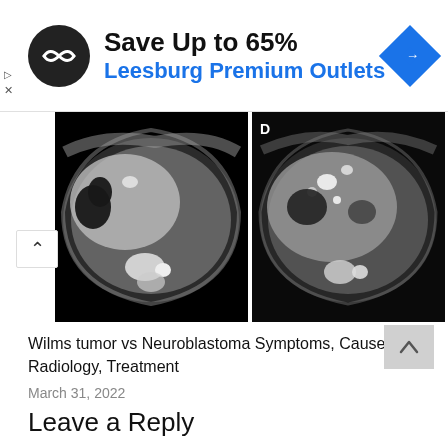[Figure (screenshot): Advertisement banner: Save Up to 65% Leesburg Premium Outlets with logo and navigation icon]
[Figure (photo): Two CT scan images showing abdominal cross-sections, the right image labeled D, showing Wilms tumor or neuroblastoma radiology]
Wilms tumor vs Neuroblastoma Symptoms, Causes, Radiology, Treatment
March 31, 2022
Leave a Reply